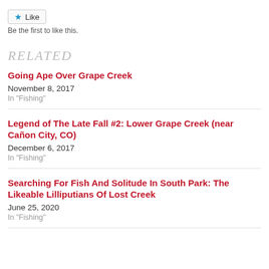Like
Be the first to like this.
RELATED
Going Ape Over Grape Creek
November 8, 2017
In "Fishing"
Legend of The Late Fall #2: Lower Grape Creek (near Cañon City, CO)
December 6, 2017
In "Fishing"
Searching For Fish And Solitude In South Park: The Likeable Lilliputians Of Lost Creek
June 25, 2020
In "Fishing"